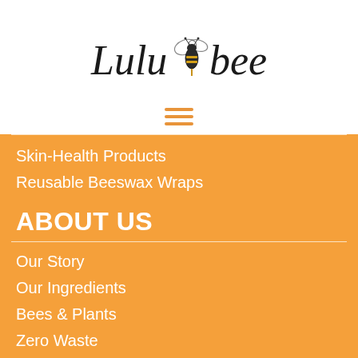[Figure (logo): Lulubee brand logo with cursive script text and illustrated bee graphic in black and gold]
[Figure (other): Orange hamburger/menu icon with three horizontal lines]
Skin-Health Products
Reusable Beeswax Wraps
ABOUT US
Our Story
Our Ingredients
Bees & Plants
Zero Waste
SOCIAL MEDIA